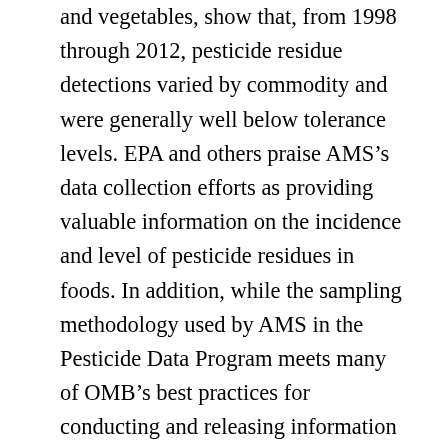and vegetables, show that, from 1998 through 2012, pesticide residue detections varied by commodity and were generally well below tolerance levels. EPA and others praise AMS's data collection efforts as providing valuable information on the incidence and level of pesticide residues in foods. In addition, while the sampling methodology used by AMS in the Pesticide Data Program meets many of OMB's best practices for conducting and releasing information to the public concerning a data collection effort, it does not meet several others, such as some principles of probability sampling that are important for ensuring that the data the agency collects are nationally representative. As AMS does not disclose these